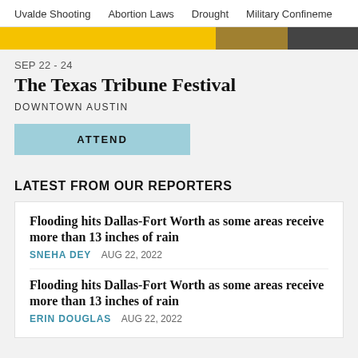Uvalde Shooting    Abortion Laws    Drought    Military Confineme
[Figure (photo): Yellow and dark banner image strip at top of page]
SEP 22 - 24
The Texas Tribune Festival
DOWNTOWN AUSTIN
ATTEND
LATEST FROM OUR REPORTERS
Flooding hits Dallas-Fort Worth as some areas receive more than 13 inches of rain
SNEHA DEY    AUG 22, 2022
Flooding hits Dallas-Fort Worth as some areas receive more than 13 inches of rain
ERIN DOUGLAS    AUG 22, 2022